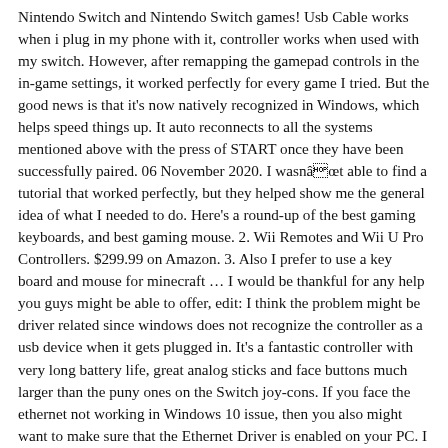Nintendo Switch and Nintendo Switch games! Usb Cable works when i plug in my phone with it, controller works when used with my switch. However, after remapping the gamepad controls in the in-game settings, it worked perfectly for every game I tried. But the good news is that it's now natively recognized in Windows, which helps speed things up. It auto reconnects to all the systems mentioned above with the press of START once they have been successfully paired. 06 November 2020. I wasnât able to find a tutorial that worked perfectly, but they helped show me the general idea of what I needed to do. Here's a round-up of the best gaming keyboards, and best gaming mouse. 2. Wii Remotes and Wii U Pro Controllers. $299.99 on Amazon. 3. Also I prefer to use a key board and mouse for minecraft … I would be thankful for any help you guys might be able to offer, edit: I think the problem might be driver related since windows does not recognize the controller as a usb device when it gets plugged in. It's a fantastic controller with very long battery life, great analog sticks and face buttons much larger than the puny ones on the Switch joy-cons. If you face the ethernet not working in Windows 10 issue, then you also might want to make sure that the Ethernet Driver is enabled on your PC. I tried the official Nintendo cable that came with the Switch and I have the same problem. Be sure to save your profile after making any changes. For some computers I needed to plug it in using USB but for other computers just Bluetooth worked well. For a lot of people, this isn't too much of an issue as it's relatively straight …